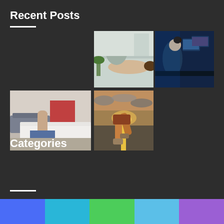Recent Posts
[Figure (photo): Massage therapist working on a patient lying face down on a table, with plants in background]
[Figure (photo): Woman working at multiple computer monitors in a dark room with blue lighting]
[Figure (photo): Person in blue shirt touching/adjusting a white mattress]
[Figure (photo): Runner's legs on a road with dramatic sunset sky and yellow center line]
Categories